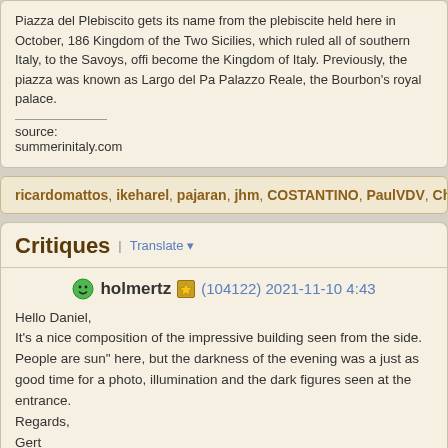Piazza del Plebiscito gets its name from the plebiscite held here in October, 186... Kingdom of the Two Sicilies, which ruled all of southern Italy, to the Savoys, offi... become the Kingdom of Italy. Previously, the piazza was known as Largo del Pa... Palazzo Reale, the Bourbon's royal palace.
source: summerinitaly.com
ricardomattos, ikeharel, pajaran, jhm, COSTANTINO, PaulVDV, ChrisJ has
Critiques | Translate
holmertz (104122) 2021-11-10 4:43
Hello Daniel,
It's a nice composition of the impressive building seen from the side. People are... sun" here, but the darkness of the evening was a just as good time for a photo,... illumination and the dark figures seen at the entrance.
Regards,
Gert
ricardomattos (17616) 2021-11-10 4:51